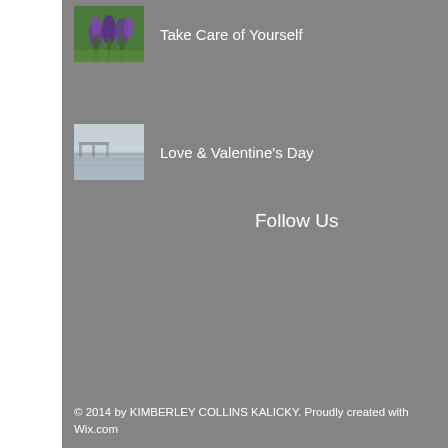Take Care of Yourself
Love & Valentine's Day
Follow Us
© 2014 by KIMBERLEY COLLINS KALICKY. Proudly created with Wix.com